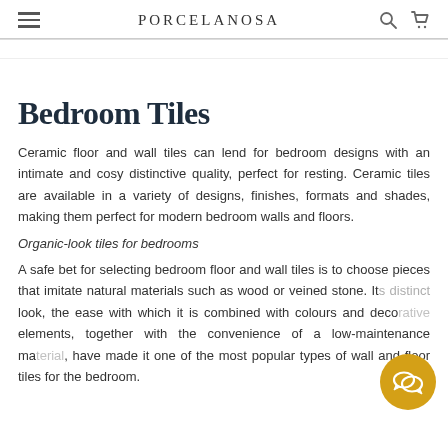PORCELANOSA
Bedroom Tiles
Ceramic floor and wall tiles can lend for bedroom designs with an intimate and cosy distinctive quality, perfect for resting. Ceramic tiles are available in a variety of designs, finishes, formats and shades, making them perfect for modern bedroom walls and floors.
Organic-look tiles for bedrooms
A safe bet for selecting bedroom floor and wall tiles is to choose pieces that imitate natural materials such as wood or veined stone. Its distinct look, the ease with which it is combined with colours and decorative elements, together with the convenience of a low-maintenance material, have made it one of the most popular types of wall and floor tiles for the bedroom.